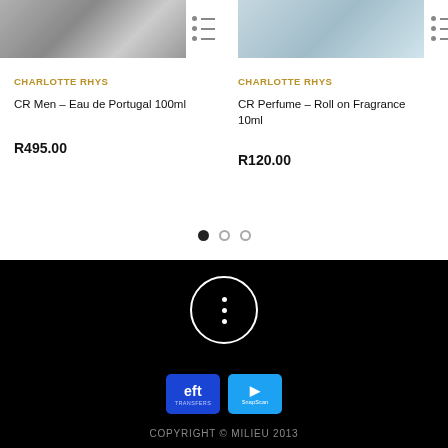[Figure (photo): Product image for CR Men – Eau de Portugal 100ml, greyscale photo]
CHARLOTTE RHYS
CR Men – Eau de Portugal 100ml
R495.00
[Figure (photo): Product image for CR Perfume – Roll on Fragrance 10ml, light blue/grey tones]
CHARLOTTE RHYS
CR Perfume – Roll on Fragrance 10ml
R120.00
[Figure (other): Carousel pagination dots: one filled, two empty]
[Figure (other): Vertical three-dot menu button in a circle, white on black background]
[Figure (logo): EFT payment badge and SnapScan payment badge]
COPYRIGHT © MILIEU 2013